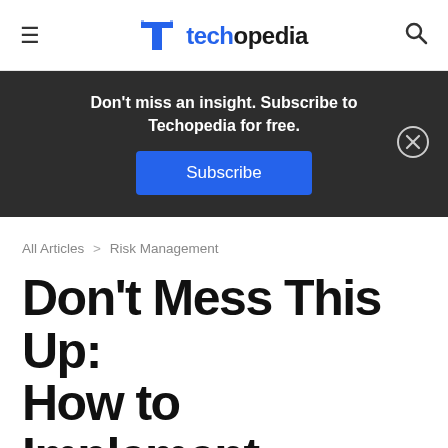techopedia
Don't miss an insight. Subscribe to Techopedia for free.
Subscribe
All Articles > Risk Management
Don't Mess This Up: How to Implement